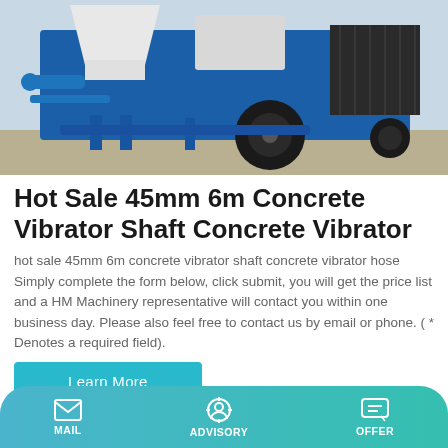[Figure (photo): Blue concrete pump/mixer machine with large wheel, white hopper on top, parked on concrete ground]
Hot Sale 45mm 6m Concrete Vibrator Shaft Concrete Vibrator
hot sale 45mm 6m concrete vibrator shaft concrete vibrator hose Simply complete the form below, click submit, you will get the price list and a HM Machinery representative will contact you within one business day. Please also feel free to contact us by email or phone. ( * Denotes a required field).
Learn More
MAIL   ADVISORY   OFFER